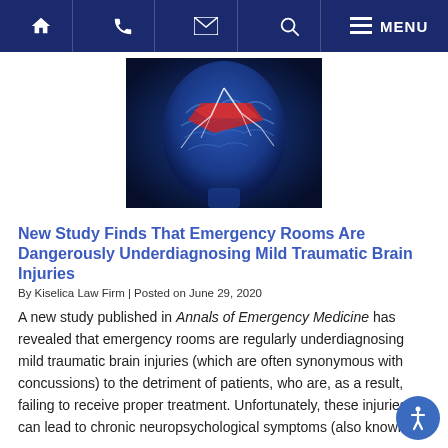Navigation bar with home, phone, email, search, and menu icons
[Figure (illustration): Medical illustration of a human head profile in blue tones showing brain with red highlighted injury area and white fracture lines, representing traumatic brain injury.]
New Study Finds That Emergency Rooms Are Dangerously Underdiagnosing Mild Traumatic Brain Injuries
By Kiselica Law Firm | Posted on June 29, 2020
A new study published in Annals of Emergency Medicine has revealed that emergency rooms are regularly underdiagnosing mild traumatic brain injuries (which are often synonymous with concussions) to the detriment of patients, who are, as a result, failing to receive proper treatment. Unfortunately, these injuries can lead to chronic neuropsychological symptoms (also known as.